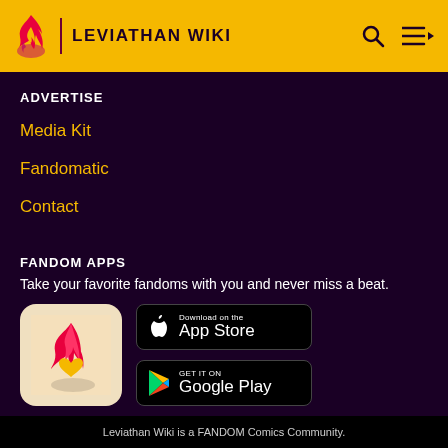LEVIATHAN WIKI
ADVERTISE
Media Kit
Fandomatic
Contact
FANDOM APPS
Take your favorite fandoms with you and never miss a beat.
[Figure (logo): Fandom app icon with flame and heart logo on light beige background]
[Figure (screenshot): Download on the App Store button]
[Figure (screenshot): GET IT ON Google Play button]
Leviathan Wiki is a FANDOM Comics Community.